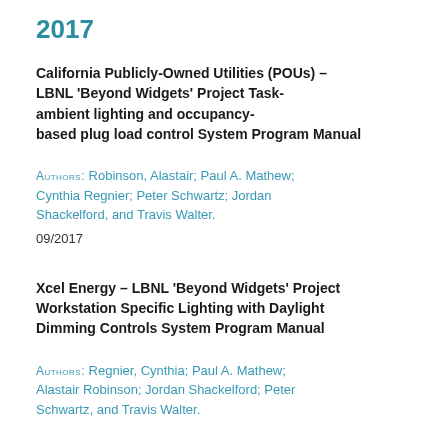2017
California Publicly-Owned Utilities (POUs) – LBNL ‘Beyond Widgets’ Project Task-ambient lighting and occupancy-based plug load control System Program Manual
AUTHORS: Robinson, Alastair; Paul A. Mathew; Cynthia Regnier; Peter Schwartz; Jordan Shackelford, and Travis Walter.
09/2017
Xcel Energy – LBNL ‘Beyond Widgets’ Project Workstation Specific Lighting with Daylight Dimming Controls System Program Manual
AUTHORS: Regnier, Cynthia; Paul A. Mathew; Alastair Robinson; Jordan Shackelford; Peter Schwartz, and Travis Walter.